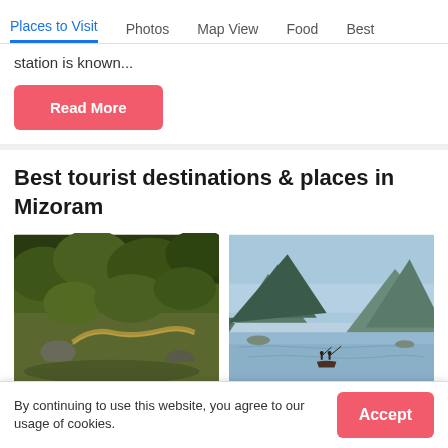Places to Visit | Photos | Map View | Food | Best
station is known...
Read More
Best tourist destinations & places in Mizoram
[Figure (photo): Lush green forested hillside with a winding path or trail visible]
[Figure (photo): River scene with misty blue mountains, small boat with people on calm water]
Top Places or rivers &...
Top Hill Stations in...
By continuing to use this website, you agree to our usage of cookies.
Accept